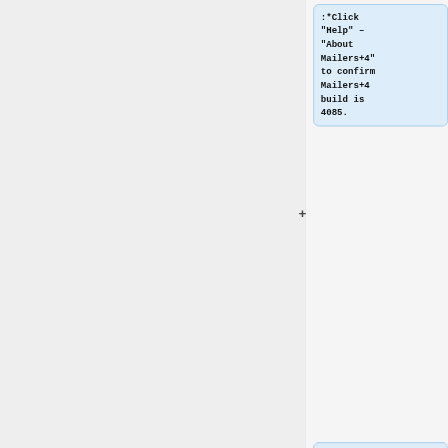:*Click "Help" – "About Mailers+4" to confirm Mailers+4 build is 4085.
:*Click "Help" – "Mailers+4 Information" to confirm other Database information.
+
+
+
==Build
==Build